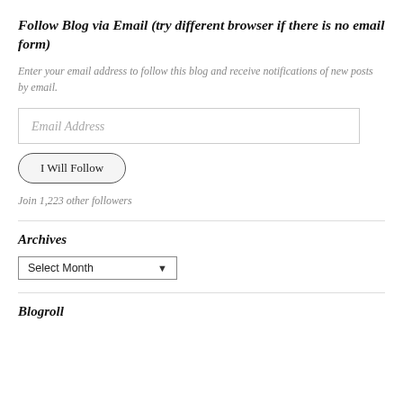Follow Blog via Email (try different browser if there is no email form)
Enter your email address to follow this blog and receive notifications of new posts by email.
Email Address
I Will Follow
Join 1,223 other followers
Archives
Select Month
Blogroll